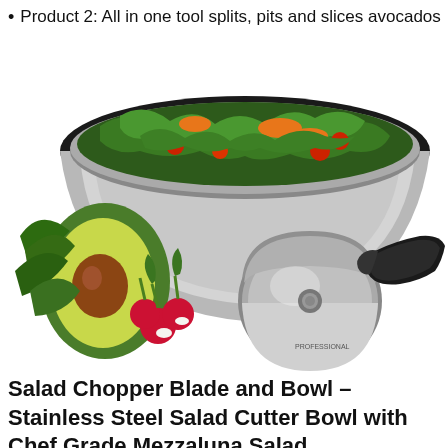Product 2: All in one tool splits, pits and slices avocados
[Figure (photo): Product photo showing a stainless steel salad bowl filled with fresh salad including greens, cherry tomatoes and carrots, alongside a mezzaluna salad chopper blade with black handle, and fresh vegetables including an avocado half and radishes on a white background.]
Salad Chopper Blade and Bowl – Stainless Steel Salad Cutter Bowl with Chef Grade Mezzaluna Salad